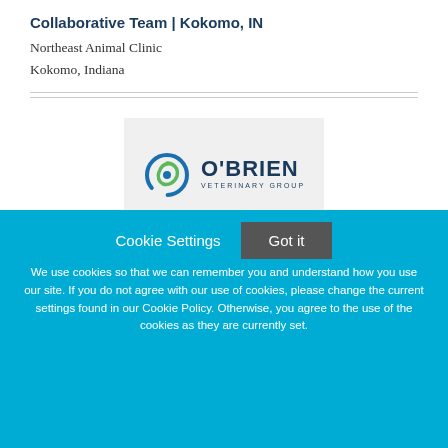Collaborative Team | Kokomo, IN
Northeast Animal Clinic
Kokomo, Indiana
[Figure (logo): O'Brien Veterinary Group logo with circular blue and green swoosh icon and bold navy text]
Veterinarian | Collaborative Team & Mentoring
Cookie Settings
Got it
We use cookies so that we can remember you and understand how you use our site. If you do not agree with our use of cookies, please change the current settings found in our Cookie Policy. Otherwise, you agree to the use of the cookies as they are currently set.